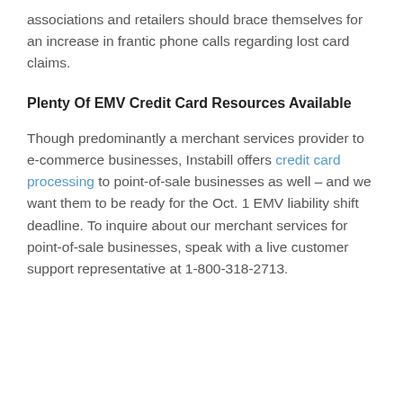associations and retailers should brace themselves for an increase in frantic phone calls regarding lost card claims.
Plenty Of EMV Credit Card Resources Available
Though predominantly a merchant services provider to e-commerce businesses, Instabill offers credit card processing to point-of-sale businesses as well – and we want them to be ready for the Oct. 1 EMV liability shift deadline. To inquire about our merchant services for point-of-sale businesses, speak with a live customer support representative at 1-800-318-2713.